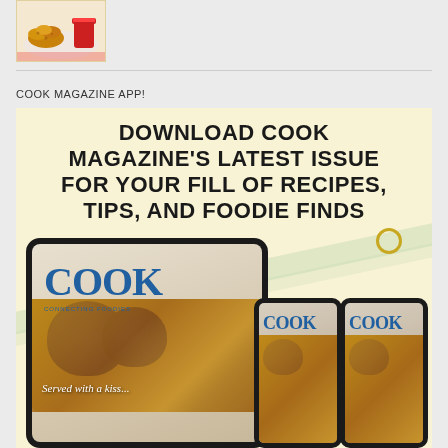[Figure (photo): Thumbnail image of fried food (chicken nuggets or similar) with a red beverage cup on a plate]
COOK MAGAZINE APP!
[Figure (illustration): Advertisement banner for Cook Magazine App showing headline 'DOWNLOAD COOK MAGAZINE'S LATEST ISSUE FOR YOUR FILL OF RECIPES, TIPS, AND FOODIE FINDS' on a light yellow background with diagonal stripe decorations and mock-ups of a tablet and two smartphones displaying the Cook magazine cover featuring blue COOK title text and bowls of food]